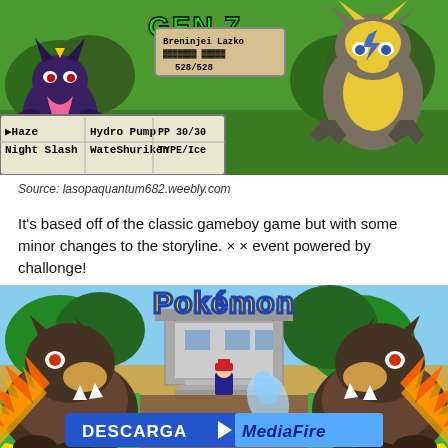[Figure (screenshot): Pokemon game battle screenshot showing two Pokemon fighting with GEN 7 label at top, battle UI showing moves Haze, Night Slash, Hydro Pump, WateShuriken, PP 30/30, TYPE/Ice, trainer names Breninjei and Laziki, HP 528/528]
Source: lasopaquantum682.weebly.com
It's based off of the classic gameboy game but with some minor changes to the storyline. × × event powered by challonge!
[Figure (screenshot): Pokemon game title screen screenshot showing large Pokemon logo with two Arcanine-like Pokemon on either side with fire effects, a player character in the middle, and a DESCARGA MediaFire download banner at the bottom]